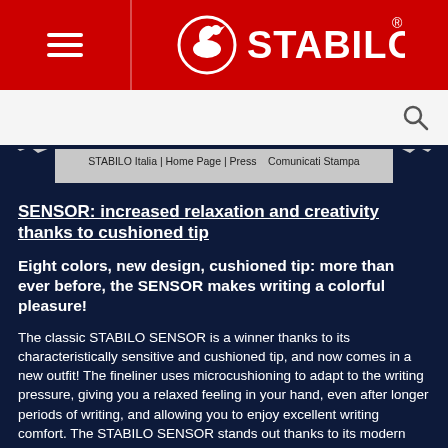[Figure (logo): STABILO logo with swan icon in white on red background, with registered trademark symbol]
STABILO Italia | Home Page | Press | Comunicati Stampa
SENSOR: increased relaxation and creativity thanks to cushioned tip
Eight colors, new design, cushioned tip: more than ever before, the SENSOR makes writing a colorful pleasure!
The classic STABILO SENSOR is a winner thanks to its characteristically sensitive and cushioned tip, and now comes in a new outfit! The fineliner uses microcushioning to adapt to the writing pressure, giving you a relaxed feeling in your hand, even after longer periods of writing, and allowing you to enjoy excellent writing comfort. The STABILO SENSOR stands out thanks to its modern